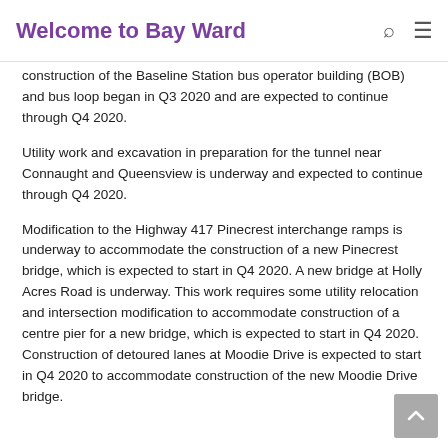Welcome to Bay Ward
construction of the Baseline Station bus operator building (BOB) and bus loop began in Q3 2020 and are expected to continue through Q4 2020.
Utility work and excavation in preparation for the tunnel near Connaught and Queensview is underway and expected to continue through Q4 2020.
Modification to the Highway 417 Pinecrest interchange ramps is underway to accommodate the construction of a new Pinecrest bridge, which is expected to start in Q4 2020. A new bridge at Holly Acres Road is underway. This work requires some utility relocation and intersection modification to accommodate construction of a centre pier for a new bridge, which is expected to start in Q4 2020. Construction of detoured lanes at Moodie Drive is expected to start in Q4 2020 to accommodate construction of the new Moodie Drive bridge.